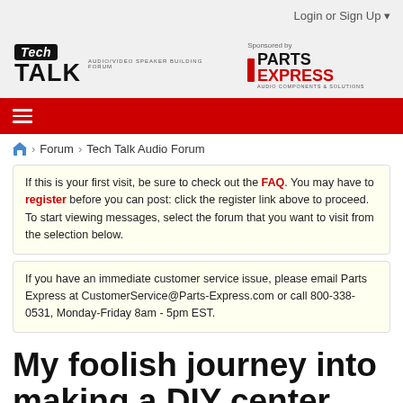Login or Sign Up ▼
[Figure (logo): Tech Talk Audio/Video Speaker Building Forum logo, sponsored by Parts Express]
[Figure (other): Red navigation bar with hamburger menu icon]
Forum > Tech Talk Audio Forum
If this is your first visit, be sure to check out the FAQ. You may have to register before you can post: click the register link above to proceed. To start viewing messages, select the forum that you want to visit from the selection below.
If you have an immediate customer service issue, please email Parts Express at CustomerService@Parts-Express.com or call 800-338-0531, Monday-Friday 8am - 5pm EST.
My foolish journey into making a DIY center